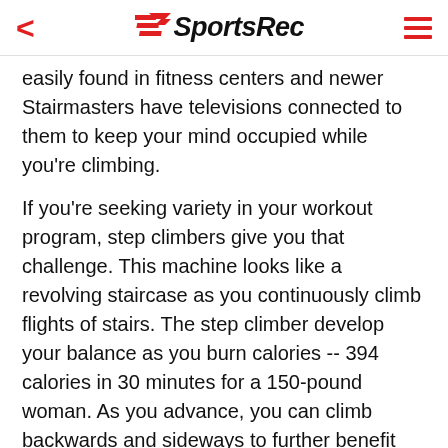SportsRec
easily found in fitness centers and newer Stairmasters have televisions connected to them to keep your mind occupied while you're climbing.
If you're seeking variety in your workout program, step climbers give you that challenge. This machine looks like a revolving staircase as you continuously climb flights of stairs. The step climber develop your balance as you burn calories -- 394 calories in 30 minutes for a 150-pound woman. As you advance, you can climb backwards and sideways to further benefit your balance and to add variety. The sideways movement also strengthens your muscles along the outsides of your legs.